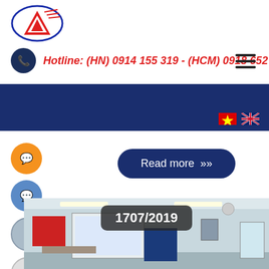[Figure (logo): Company logo: red triangular graphic inside a blue oval border]
Hotline: (HN) 0914 155 319 - (HCM) 0918 652 523
[Figure (infographic): Navigation bar (dark blue) with Vietnamese and UK flag icons for language selection, and hamburger menu icon]
[Figure (infographic): Social media sidebar icons: WhatsApp (orange), Messenger (blue), Skype (grey), Zalo (light grey)]
Read more »
[Figure (photo): Interior photo of a classroom/meeting room with projector screen, ceiling fans, and fluorescent lights. Overlaid dark label reading 1707/2019]